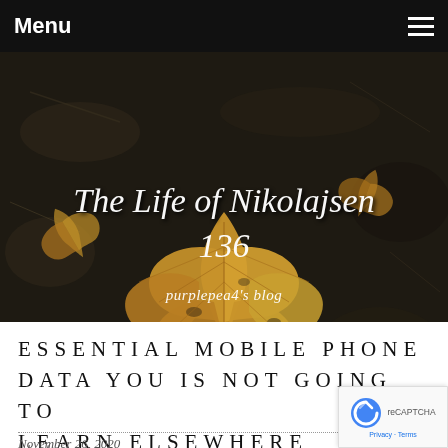Menu
[Figure (photo): Hero banner image showing dried autumn leaves on dark soil background, with cursive blog title overlay]
The Life of Nikolajsen 136
purplepea4's blog
ESSENTIAL MOBILE PHONE DATA YOU IS NOT GOING TO LEARN ELSEWHERE
November 26, 2020
Cell phones are one thing that tons of people use on a daily basis. This is probably one thing that you want to be taught more about, and that's what this text is right